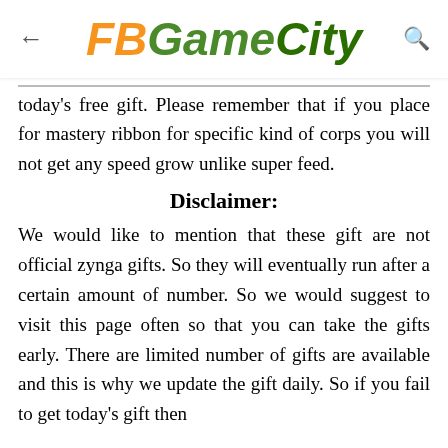FBGameCity
today's free gift. Please remember that if you place for mastery ribbon for specific kind of corps you will not get any speed grow unlike super feed.
Disclaimer:
We would like to mention that these gift are not official zynga gifts. So they will eventually run after a certain amount of number. So we would suggest to visit this page often so that you can take the gifts early. There are limited number of gifts are available and this is why we update the gift daily. So if you fail to get today's gift then